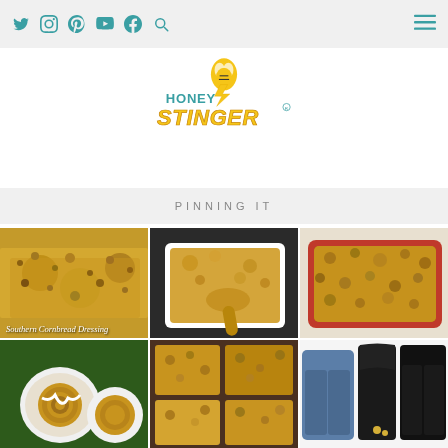Social media icons (Twitter, Instagram, Pinterest, YouTube, Facebook, Search) and hamburger menu
[Figure (logo): Honey Stinger logo with bee mascot and stylized text]
PINNING IT
[Figure (photo): Grid of 6 food/lifestyle photos: Southern Cornbread Dressing casseroles (3 images), cinnamon rolls, crumble bars, and black outfits flatlay]